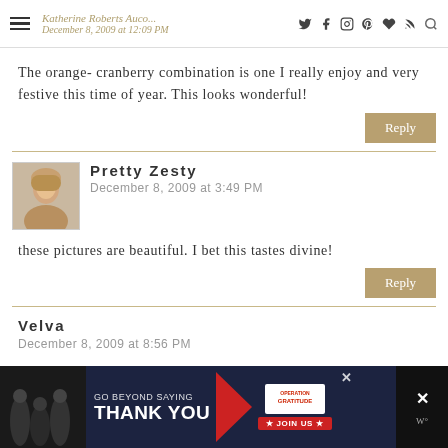Katherine Roberts Autoc... | December 8, 2009 at 12:09 PM | [icons: twitter, facebook, instagram, pinterest, heart, rss, search]
The orange- cranberry combination is one I really enjoy and very festive this time of year. This looks wonderful!
Reply
Pretty Zesty
December 8, 2009 at 3:49 PM
these pictures are beautiful. I bet this tastes divine!
Reply
Velva
December 8, 2009 at 8:56 PM
[Figure (infographic): Advertisement banner: 'GO BEYOND SAYING THANK YOU' with Operation Gratitude logo and JOIN US button]